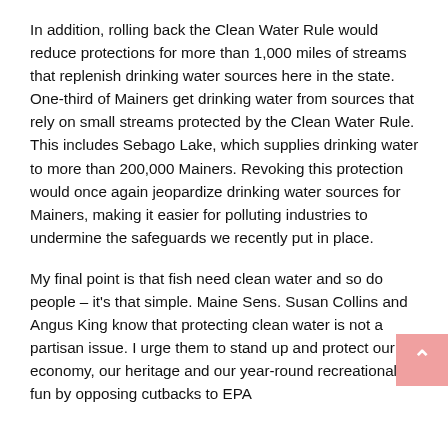In addition, rolling back the Clean Water Rule would reduce protections for more than 1,000 miles of streams that replenish drinking water sources here in the state. One-third of Mainers get drinking water from sources that rely on small streams protected by the Clean Water Rule. This includes Sebago Lake, which supplies drinking water to more than 200,000 Mainers. Revoking this protection would once again jeopardize drinking water sources for Mainers, making it easier for polluting industries to undermine the safeguards we recently put in place.
My final point is that fish need clean water and so do people – it's that simple. Maine Sens. Susan Collins and Angus King know that protecting clean water is not a partisan issue. I urge them to stand up and protect our economy, our heritage and our year-round recreational fun by opposing cutbacks to EPA funding and repeal of the 2015 Clean Water Rule...